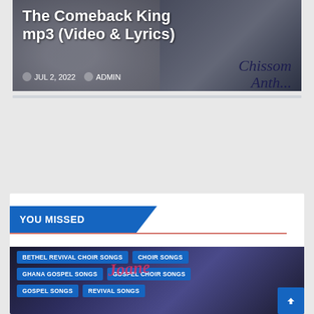[Figure (screenshot): Hero banner image with white lion in background, showing blog post title 'The Comeback King mp3 (Video & Lyrics)' with date JUL 2, 2022 and ADMIN, with cursive 'Chissom Anthony' text overlay]
YOU MISSED
[Figure (screenshot): Dark card image with gospel music tags: BETHEL REVIVAL CHOIR SONGS, CHOIR SONGS, GHANA GOSPEL SONGS, GOSPEL CHOIR SONGS, GOSPEL SONGS, REVIVAL SONGS, with colorful Joane logo visible]